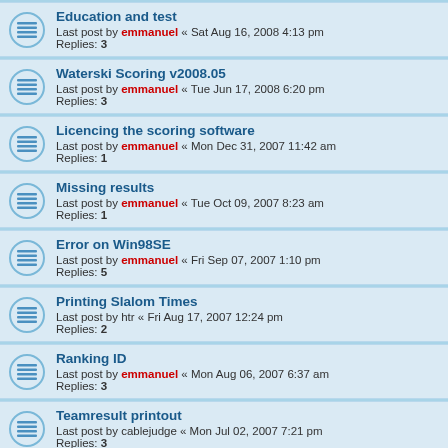Education and test
Last post by emmanuel « Sat Aug 16, 2008 4:13 pm
Replies: 3
Waterski Scoring v2008.05
Last post by emmanuel « Tue Jun 17, 2008 6:20 pm
Replies: 3
Licencing the scoring software
Last post by emmanuel « Mon Dec 31, 2007 11:42 am
Replies: 1
Missing results
Last post by emmanuel « Tue Oct 09, 2007 8:23 am
Replies: 1
Error on Win98SE
Last post by emmanuel « Fri Sep 07, 2007 1:10 pm
Replies: 5
Printing Slalom Times
Last post by htr « Fri Aug 17, 2007 12:24 pm
Replies: 2
Ranking ID
Last post by emmanuel « Mon Aug 06, 2007 6:37 am
Replies: 3
Teamresult printout
Last post by cablejudge « Mon Jul 02, 2007 7:21 pm
Replies: 3
Changing classification for Senior 3 to Open cause error
Last post by emmanuel « Sun Jun 24, 2007 6:56 am
Replies: 1